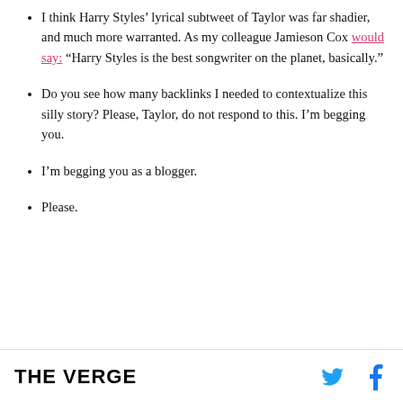I think Harry Styles' lyrical subtweet of Taylor was far shadier, and much more warranted. As my colleague Jamieson Cox would say: "Harry Styles is the best songwriter on the planet, basically."
Do you see how many backlinks I needed to contextualize this silly story? Please, Taylor, do not respond to this. I'm begging you.
I'm begging you as a blogger.
Please.
THE VERGE